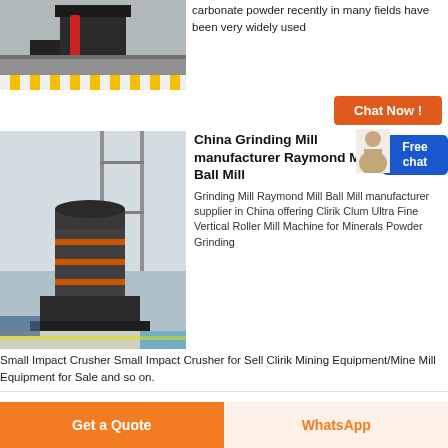[Figure (photo): Industrial machine/crusher equipment photo at top left]
carbonate powder recently in many fields have been very widely used
Chat Now !
[Figure (photo): Large vertical grinding mill machine inside a factory warehouse]
China Grinding Mill manufacturer Raymond Mill Ball Mill
Grinding Mill Raymond Mill Ball Mill manufacturer supplier in China offering Clirik Clum Ultra Fine Vertical Roller Mill Machine for Minerals Powder Grinding Small Impact Crusher Small Impact Crusher for Sell Clirik Mining Equipment/Mine Mill Equipment for Sale and so on.
Get a Quote
WhatsApp